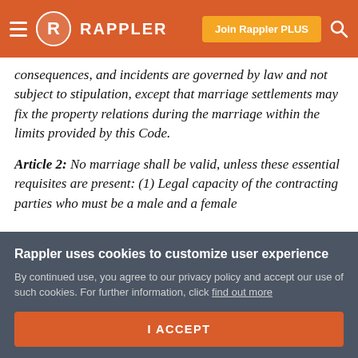Rappler — Join Rappler PLUS
consequences, and incidents are governed by law and not subject to stipulation, except that marriage settlements may fix the property relations during the marriage within the limits provided by this Code.
Article 2: No marriage shall be valid, unless these essential requisites are present: (1) Legal capacity of the contracting parties who must be a male and a female
Rappler uses cookies to customize user experience
By continued use, you agree to our privacy policy and accept our use of such cookies. For further information, click find out more
I ACCEPT